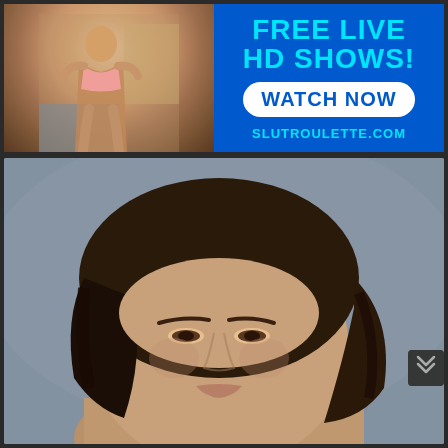[Figure (photo): Advertising banner with photo of person in pink lingerie on left, and blue background with text FREE LIVE HD SHOWS!, WATCH NOW button, and SLUTROULETTE.COM domain on right]
[Figure (photo): Close-up photograph of a woman with dark wet hair and olive skin, looking slightly downward, against a blurred gray background]